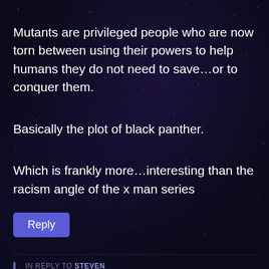Mutants are privileged people who are now torn between using their powers to help humans they do not need to save…or to conquer them.
Basically the plot of black panther.
Which is frankly more…interesting than the racism angle of the x man series
Reply
IN REPLY TO STEVEN
Jason Duncan
December 19, 2019 at 11:37 am